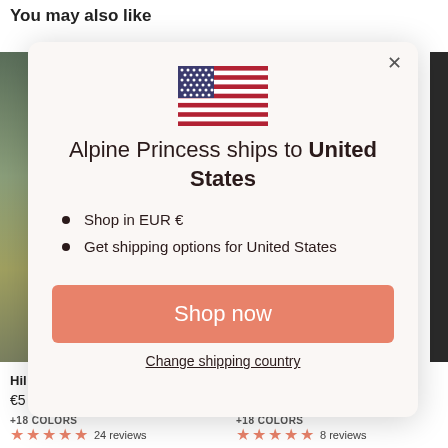You may also like
[Figure (screenshot): E-commerce modal popup on a shopping page. The modal shows an American flag, text 'Alpine Princess ships to United States', bullet points 'Shop in EUR €' and 'Get shipping options for United States', a salmon-colored 'Shop now' button, and a 'Change shipping country' link. Behind the modal is a page with 'You may also like' heading, product images, and star ratings.]
Alpine Princess ships to United States
Shop in EUR €
Get shipping options for United States
Shop now
Change shipping country
+18 COLORS  24 reviews
+18 COLORS  8 reviews